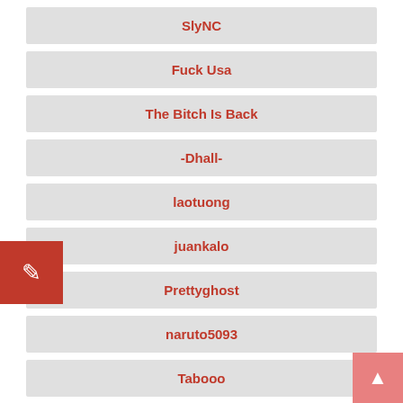SlyNC
Fuck Usa
The Bitch Is Back
-Dhall-
laotuong
juankalo
Prettyghost
naruto5093
Tabooo
alex
m3anmachin3